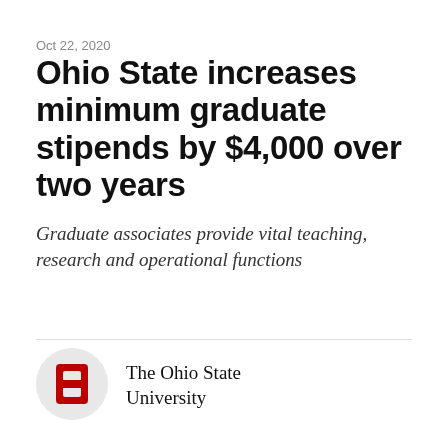Oct 22, 2020
Ohio State increases minimum graduate stipends by $4,000 over two years
Graduate associates provide vital teaching, research and operational functions
[Figure (logo): The Ohio State University circular logo with red block O on light gray background]
The Ohio State University